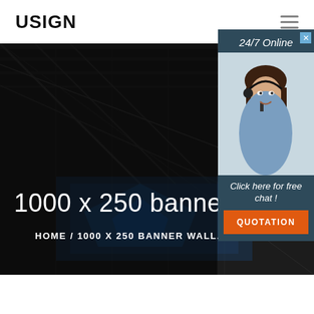USIGN
[Figure (screenshot): Dark warehouse interior hero image with structural beams and industrial signage overlay, heavily darkened]
1000 x 250 banner wa...
HOME  /  1000 X 250 BANNER WALL...
[Figure (photo): 24/7 Online chat popup widget with photo of female customer service agent wearing headset, smiling. Includes 'Click here for free chat!' text and orange QUOTATION button.]